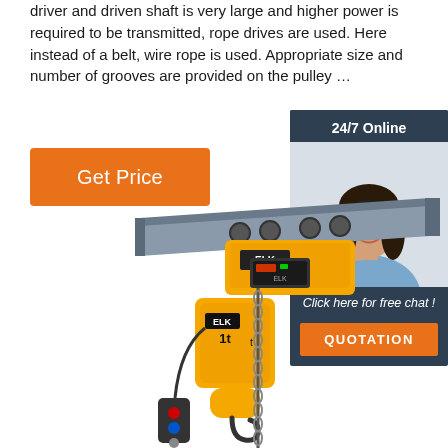driver and driven shaft is very large and higher power is required to be transmitted, rope drives are used. Here instead of a belt, wire rope is used. Appropriate size and number of grooves are provided on the pulley …
[Figure (other): Orange 'Get Price' button]
[Figure (other): 24/7 Online chat box with photo of a female customer service representative wearing a headset, with text 'Click here for free chat!' and an orange QUOTATION button]
[Figure (photo): Yellow ELK 1t electric chain hoist mounted on an I-beam rail, showing motor unit, chain, and hook assembly]